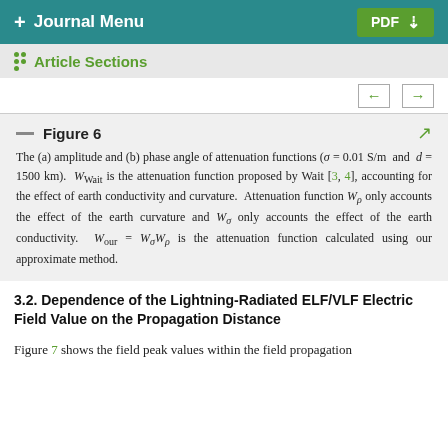+ Journal Menu    PDF ↓
Article Sections
Figure 6  The (a) amplitude and (b) phase angle of attenuation functions (σ = 0.01 S/m and d = 1500 km). W_Wait is the attenuation function proposed by Wait [3, 4], accounting for the effect of earth conductivity and curvature. Attenuation function W_ρ only accounts the effect of the earth curvature and W_σ only accounts the effect of the earth conductivity. W_our = W_σW_ρ is the attenuation function calculated using our approximate method.
3.2. Dependence of the Lightning-Radiated ELF/VLF Electric Field Value on the Propagation Distance
Figure 7 shows the field peak values within the field propagation